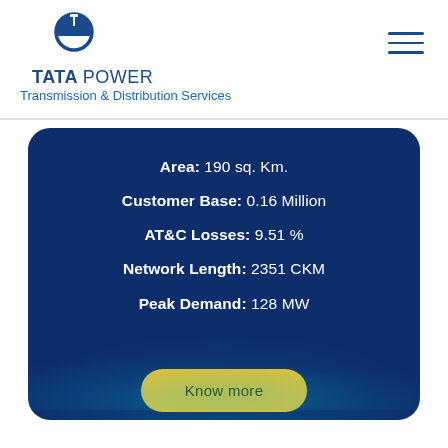[Figure (logo): Tata Power logo with circular emblem and text TATA POWER]
TATA POWER Transmission & Distribution Services
Area: 190 sq. Km.
Customer Base: 0.16 Million
AT&C Losses: 9.51%
Network Length: 2351 CKM
Peak Demand: 128 MW
Know more